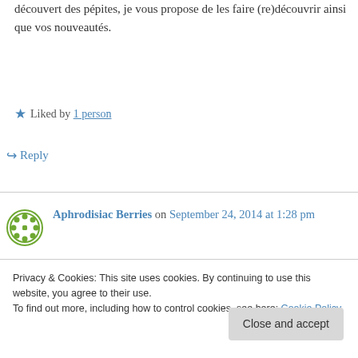découvert des pépites, je vous propose de les faire (re)découvrir ainsi que vos nouveautés.
★ Liked by 1 person
↪ Reply
Aphrodisiac Berries on September 24, 2014 at 1:28 pm
I blog often and I genuinely thank you for your content.
Privacy & Cookies: This site uses cookies. By continuing to use this website, you agree to their use. To find out more, including how to control cookies, see here: Cookie Policy
Close and accept